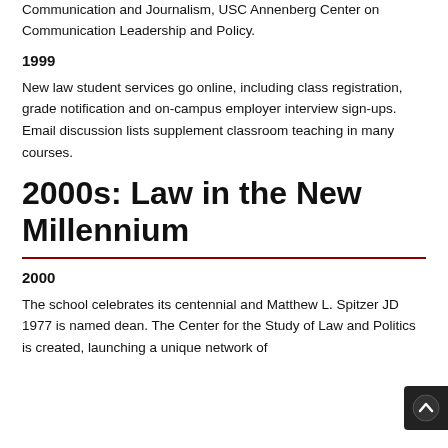Communication and Journalism, USC Annenberg Center on Communication Leadership and Policy.
1999
New law student services go online, including class registration, grade notification and on-campus employer interview sign-ups. Email discussion lists supplement classroom teaching in many courses.
2000s: Law in the New Millennium
2000
The school celebrates its centennial and Matthew L. Spitzer JD 1977 is named dean. The Center for the Study of Law and Politics is created, launching a unique network of